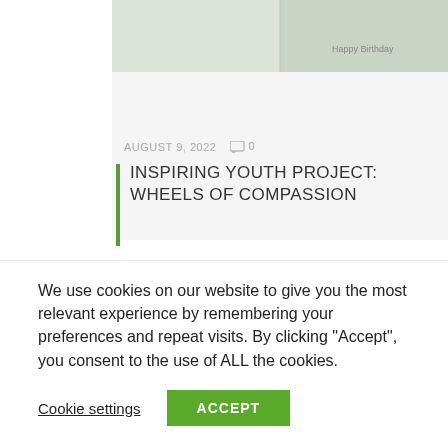[Figure (photo): Top portion of a birthday card or art project image with illustrated plants and text 'Happy Birthday']
AUGUST 9, 2022  💬 0
INSPIRING YOUTH PROJECT: WHEELS OF COMPASSION
[Figure (photo): A small fluffy monkey (cotton-top tamarin) looking at camera with green foliage in background]
We use cookies on our website to give you the most relevant experience by remembering your preferences and repeat visits. By clicking "Accept", you consent to the use of ALL the cookies.
Cookie settings  ACCEPT